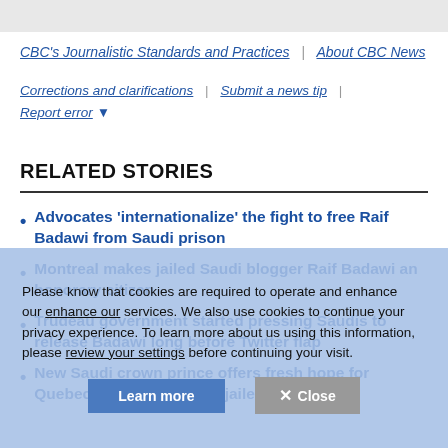CBC's Journalistic Standards and Practices | About CBC News
Corrections and clarifications | Submit a news tip | Report error ▾
RELATED STORIES
Advocates 'internationalize' the fight to free Raif Badawi from Saudi prison
Montreal makes jailed Saudi blogger Raif Badawi an honorary citizen
Trudeau government started pressing Saudis to release Badawi long before Twitter flap
New Saudi crown prince offers fresh hope for Quebec family of blogger jailed since 2012
Please know that cookies are required to operate and enhance our services. We also use cookies to continue your privacy experience. To learn more about us using this information, please review your settings before continuing your visit.
Learn more | ✕ Close